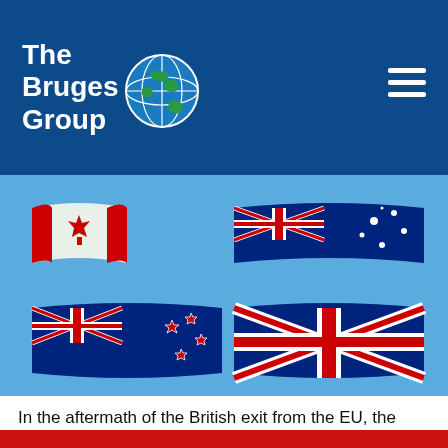The Bruges Group
[Figure (illustration): Four flags arranged in a 2x2 grid on a light blue background: Canada (top-left), Australia (top-right), New Zealand (bottom-left), United Kingdom (bottom-right), all waving style]
In the aftermath of the British exit from the EU, the concept of CANZUK, a largely economic alliance between Canada, Australia, New Zealand, and the United Kingdom, all of which have the monarchy, the same common law systems, and parliamentary democracy, among others. However, the question remains, what has stopped these four countries, throughout ...
We use cookies to improve your experience on our website. By browsing this website, you agree to our use of cookies.
Ok, I've understood!